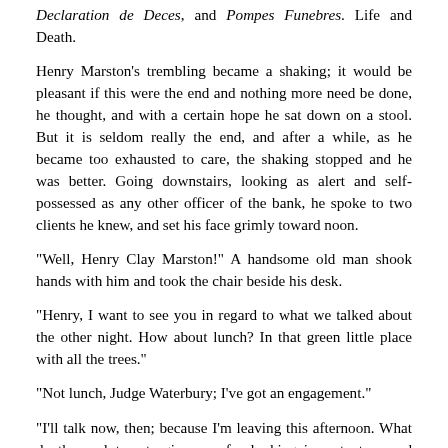Declaration de Deces, and Pompes Funebres. Life and Death.
Henry Marston’s trembling became a shaking; it would be pleasant if this were the end and nothing more need be done, he thought, and with a certain hope he sat down on a stool. But it is seldom really the end, and after a while, as he became too exhausted to care, the shaking stopped and he was better. Going downstairs, looking as alert and self-possessed as any other officer of the bank, he spoke to two clients he knew, and set his face grimly toward noon.
“Well, Henry Clay Marston!” A handsome old man shook hands with him and took the chair beside his desk.
“Henry, I want to see you in regard to what we talked about the other night. How about lunch? In that green little place with all the trees.”
“Not lunch, Judge Waterbury; I’ve got an engagement.”
“I’ll talk now, then; because I’m leaving this afternoon. What do these plutocrats give you for looking important around here?”
Henry Marston knew what was coming.